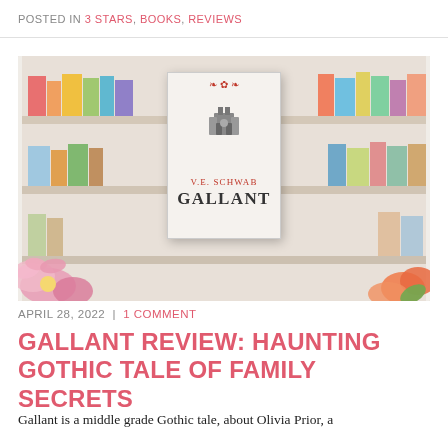POSTED IN 3 STARS, BOOKS, REVIEWS
[Figure (photo): Photo of the book 'Gallant' by V.E. Schwab standing upright in front of a colorful bookshelf, surrounded by pink and orange flowers in the foreground.]
APRIL 28, 2022 | 1 COMMENT
GALLANT REVIEW: HAUNTING GOTHIC TALE OF FAMILY SECRETS
Gallant is a middle grade Gothic tale, about Olivia Prior, a